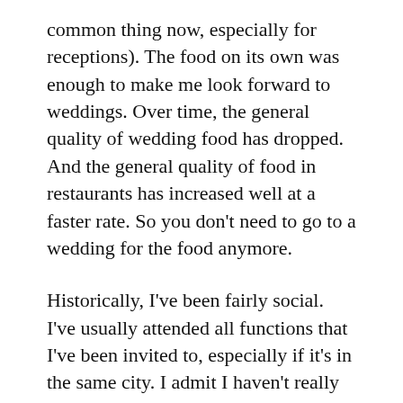common thing now, especially for receptions). The food on its own was enough to make me look forward to weddings. Over time, the general quality of wedding food has dropped. And the general quality of food in restaurants has increased well at a faster rate. So you don't need to go to a wedding for the food anymore.
Historically, I've been fairly social. I've usually attended all functions that I've been invited to, especially if it's in the same city. I admit I haven't really travelled too many times to attend weddings but done short trips (such as Bangalore–Mysore) occasionally. I've always calculated that the cost (time, travel, etc.) of attending a wedding is not much in terms of